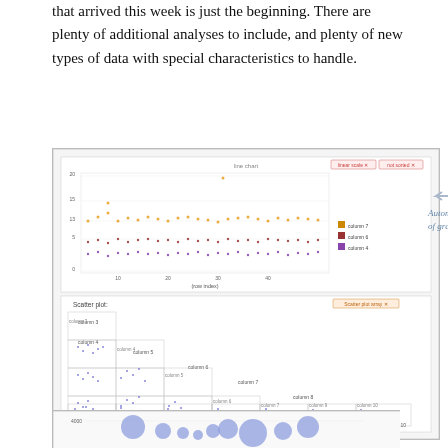that arrived this week is just the beginning. There are plenty of additional analyses to include, and plenty of new types of data with special characteristics to handle.
[Figure (screenshot): Screenshot of a data visualization tool showing a line/scatter chart labeled 'row index' on x-axis with columns 7, 6, 4 as legend, and a scatter plot matrix below labeled 'Scatter plot' with columns 3 through 10. Annotation arrow pointing left reads 'Automatic choice of graphics'.]
[Figure (screenshot): Partial screenshot of a bubble chart showing bubbles of varying sizes, with y-axis showing value around 4000.]